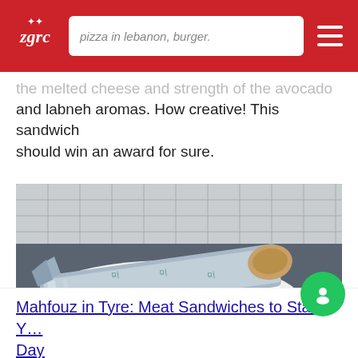pizza in lebanon, burger.
the melted cheese and strength of the avocado and labneh aromas. How creative! This sandwich should win an award for sure.
[Figure (photo): A wrapped sandwich (lavash roll) partially unwrapped with silver foil, placed on a white oval plate. Kitchen background visible.]
Mahfouz in Tyre: Meat Sandwiches to Start Your Day